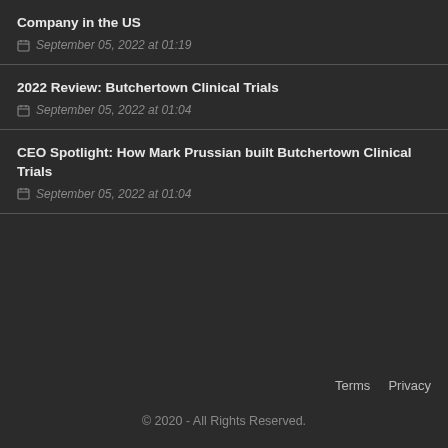Company in the US
September 05, 2022 at 01:19
2022 Review: Butchertown Clinical Trials
September 05, 2022 at 01:04
CEO Spotlight: How Mark Prussian built Butchertown Clinical Trials
September 05, 2022 at 01:04
Terms   Privacy
© 2020 - All Rights Reserved.